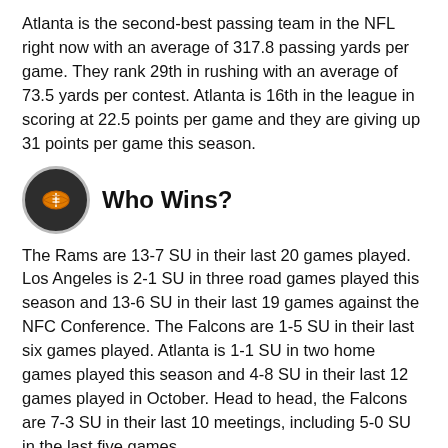Atlanta is the second-best passing team in the NFL right now with an average of 317.8 passing yards per game. They rank 29th in rushing with an average of 73.5 yards per contest. Atlanta is 16th in the league in scoring at 22.5 points per game and they are giving up 31 points per game this season.
Who Wins?
The Rams are 13-7 SU in their last 20 games played. Los Angeles is 2-1 SU in three road games played this season and 13-6 SU in their last 19 games against the NFC Conference. The Falcons are 1-5 SU in their last six games played. Atlanta is 1-1 SU in two home games played this season and 4-8 SU in their last 12 games played in October. Head to head, the Falcons are 7-3 SU in their last 10 meetings, including 5-0 SU in the last five games.
I've been wrong about the Rams in the last two games. I've picked them to bounce back but they have not. Worse, the injuries seem to keep piling up. Todd Gurley missed the last game and is questionable for this one. But even if he plays, that offensive line is a big issue. The Rams ranked 3rd in rushing last season but are only 22nd this year, even with Gurley playing in the first five games